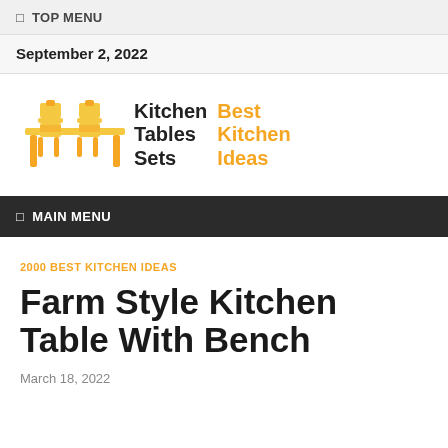TOP MENU
September 2, 2022
[Figure (logo): Kitchen Tables Sets — Best Kitchen Ideas logo with orange table and chairs icon]
MAIN MENU
2000 BEST KITCHEN IDEAS
Farm Style Kitchen Table With Bench
March 18, 2022